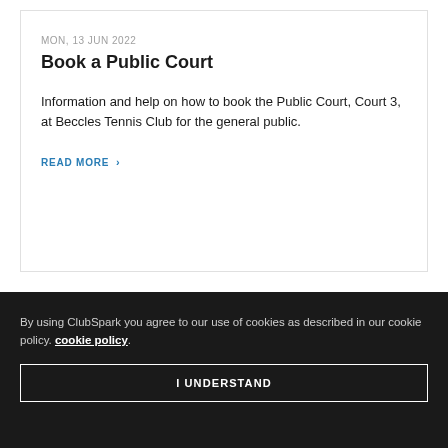MON, 13 JUN 2022
Book a Public Court
Information and help on how to book the Public Court, Court 3, at Beccles Tennis Club for the general public.
READ MORE >
By using ClubSpark you agree to our use of cookies as described in our cookie policy. cookie policy.
I UNDERSTAND